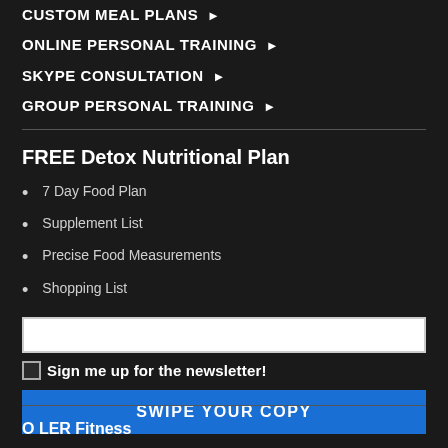CUSTOM MEAL PLANS ▶
ONLINE PERSONAL TRAINING ▶
SKYPE CONSULTATION ▶
GROUP PERSONAL TRAINING ▶
FREE Detox Nutritional Plan
7 Day Food Plan
Supplement List
Precise Food Measurements
Shopping List
Sign me up for the newsletter!
SWIPE YOUR COPY
O LER Fitness